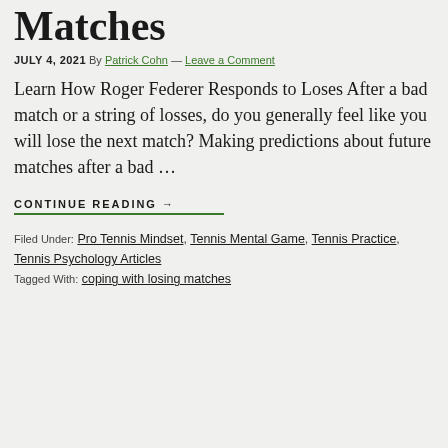Matches
JULY 4, 2021 By Patrick Cohn — Leave a Comment
Learn How Roger Federer Responds to Loses After a bad match or a string of losses, do you generally feel like you will lose the next match? Making predictions about future matches after a bad …
CONTINUE READING →
Filed Under: Pro Tennis Mindset, Tennis Mental Game, Tennis Practice, Tennis Psychology Articles
Tagged With: coping with losing matches